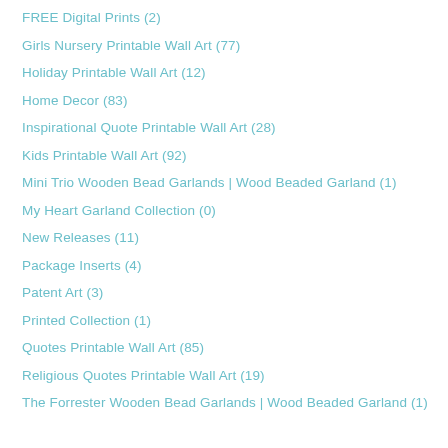FREE Digital Prints (2)
Girls Nursery Printable Wall Art (77)
Holiday Printable Wall Art (12)
Home Decor (83)
Inspirational Quote Printable Wall Art (28)
Kids Printable Wall Art (92)
Mini Trio Wooden Bead Garlands | Wood Beaded Garland (1)
My Heart Garland Collection (0)
New Releases (11)
Package Inserts (4)
Patent Art (3)
Printed Collection (1)
Quotes Printable Wall Art (85)
Religious Quotes Printable Wall Art (19)
The Forrester Wooden Bead Garlands | Wood Beaded Garland (1)